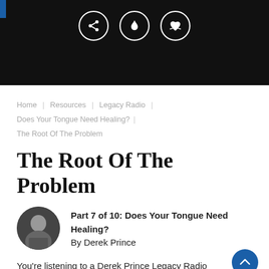[Figure (screenshot): Dark header banner with three circular icon buttons (share, flame/fire, heart-in-hand) on black curved background with blue accent bar top-left]
Home | Resources | Legacy Radio | Does Your Tongue Need Healing? | The Root Of The Problem
The Root Of The Problem
Part 7 of 10: Does Your Tongue Need Healing?
By Derek Prince
You're listening to a Derek Prince Legacy Radio podcast.